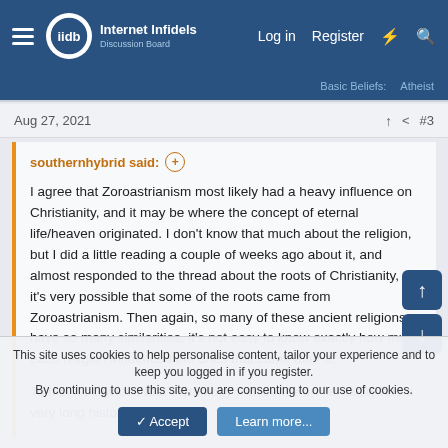Internet Infidels — Log in  Register
Basic Beliefs:  Atheist
Aug 27, 2021  #3
southernhybrid said: ⊕

I agree that Zoroastrianism most likely had a heavy influence on Christianity, and it may be where the concept of eternal life/heaven originated. I don't know that much about the religion, but I did a little reading a couple of weeks ago about it, and almost responded to the thread about the roots of Christianity, as it's very possible that some of the roots came from Zoroastrianism. Then again, so many of these ancient religions have so many similarities, it's not easy to know exactly how much each religion influenced the ones that came after it.

To me, it's obvious that mythology's influence on humanity has a very long history.
This site uses cookies to help personalise content, tailor your experience and to keep you logged in if you register.
By continuing to use this site, you are consenting to our use of cookies.